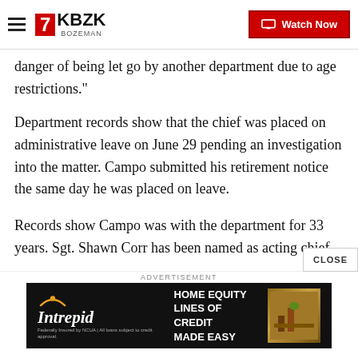KBZK BOZEMAN | Watch Now
danger of being let go by another department due to age restrictions."
Department records show that the chief was placed on administrative leave on June 29 pending an investigation into the matter. Campo submitted his retirement notice the same day he was placed on leave.
Records show Campo was with the department for 33 years. Sgt. Shawn Corr has been named as acting chief.
This story was originally published by Drew Scofield and Joe Pagonakis on Scripps station WEWS in Cleveland.
[Figure (other): Intrepid Credit Union advertisement: Home Equity Lines of Credit Made Easy]